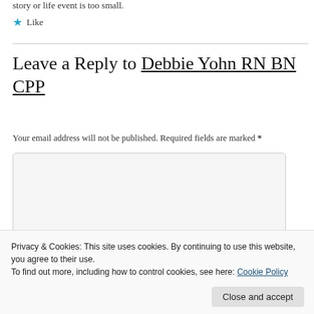story or life event is too small.
★ Like
Leave a Reply to Debbie Yohn RN BN CPP
Your email address will not be published. Required fields are marked *
Privacy & Cookies: This site uses cookies. By continuing to use this website, you agree to their use. To find out more, including how to control cookies, see here: Cookie Policy
Close and accept